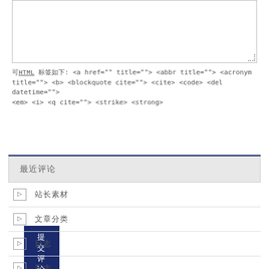[Figure (screenshot): Empty textarea input field with dotted resize handle in bottom-right corner]
可用HTML标签如下: <a href="" title=""> <abbr title=""> <acronym title=""> <b> <blockquote cite=""> <cite> <code> <del datetime=""> <em> <i> <q cite=""> <strike> <strong>
提交评论
最近评论
站长素材
文章分类
日志
日志